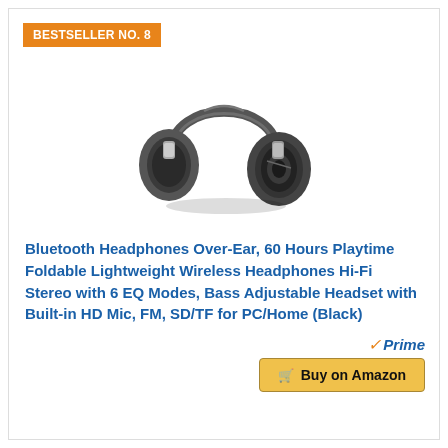BESTSELLER NO. 8
[Figure (photo): Over-ear Bluetooth headphones in black/dark gray color, foldable style, shown at an angle with large ear cups and metallic headband.]
Bluetooth Headphones Over-Ear, 60 Hours Playtime Foldable Lightweight Wireless Headphones Hi-Fi Stereo with 6 EQ Modes, Bass Adjustable Headset with Built-in HD Mic, FM, SD/TF for PC/Home (Black)
Prime
Buy on Amazon